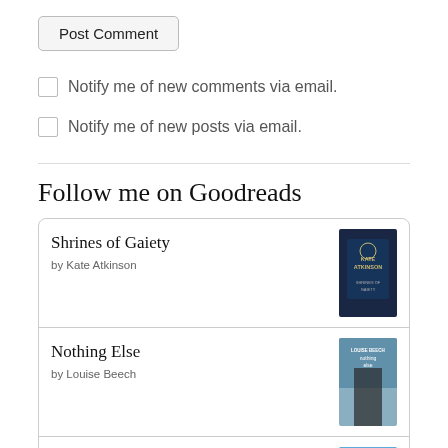Post Comment
Notify me of new comments via email.
Notify me of new posts via email.
Follow me on Goodreads
Shrines of Gaiety by Kate Atkinson
Nothing Else by Louise Beech
The Summer Trip